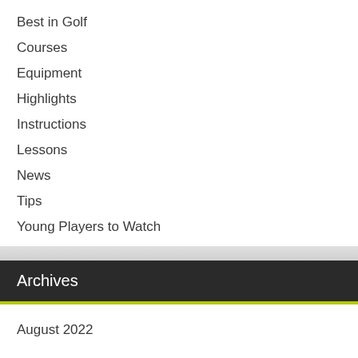Best in Golf
Courses
Equipment
Highlights
Instructions
Lessons
News
Tips
Young Players to Watch
Archives
August 2022